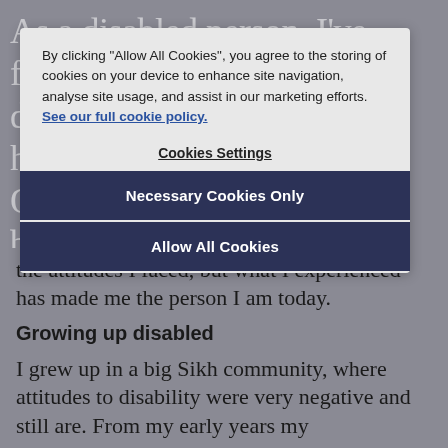As a disabled person, I've faced microaggressions and discrimination all my life. I have a condition called Osteogenesis imperfecta, or brittle bone disease, which means my bones are weak and can fracture more easily, and due to my condition I have a short stature. I'm 3ft 10 and that's fine with me – it's other people who can find it hard to cope with. Growing up, I hated my disability identity because of the attitudes I faced, but what I experienced has made me the person I am today.
[Figure (screenshot): Cookie consent modal overlay on top of article text. Contains text: 'By clicking "Allow All Cookies", you agree to the storing of cookies on your device to enhance site navigation, analyse site usage, and assist in our marketing efforts. See our full cookie policy.' A 'Cookies Settings' link, a 'Necessary Cookies Only' button, and an 'Allow All Cookies' button.]
the attitudes I faced, but what I experienced has made me the person I am today.
Growing up disabled
I grew up in a big Sikh community, where attitudes to disability were very negative and still are. From my early years my